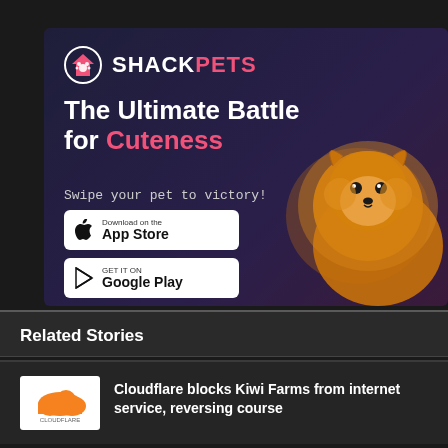[Figure (illustration): ShackPets app advertisement banner with dark purple gradient background. Logo shows a house with paw print icon and 'SHACKPETS' brand name. Headline reads 'The Ultimate Battle for Cuteness'. Tagline 'Swipe your pet to victory!' with App Store and Google Play download buttons. A fluffy Pomeranian dog is shown on the right side.]
Related Stories
[Figure (logo): Cloudflare logo thumbnail]
Cloudflare blocks Kiwi Farms from internet service, reversing course